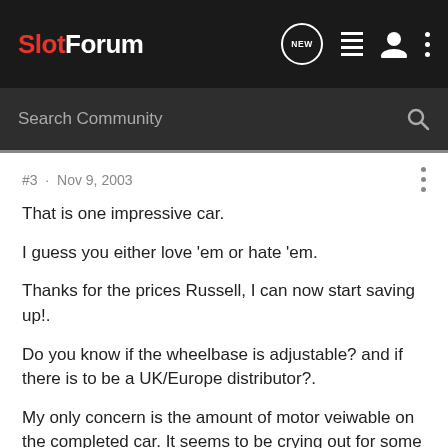SlotForum
Search Community
#3 · Nov 9, 2003
That is one impressive car.
I guess you either love 'em or hate 'em.
Thanks for the prices Russell, I can now start saving up!.
Do you know if the wheelbase is adjustable? and if there is to be a UK/Europe distributor?.
My only concern is the amount of motor veiwable on the completed car. It seems to be crying out for some sort of engine detail or at least a cover.